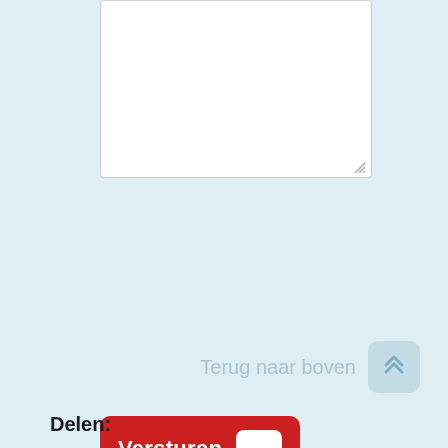[Figure (screenshot): White textarea input box with resize handle at bottom right]
[Figure (screenshot): Red 'Versturen' submit button with white double-chevron icon on right]
Terug naar boven
Delen: